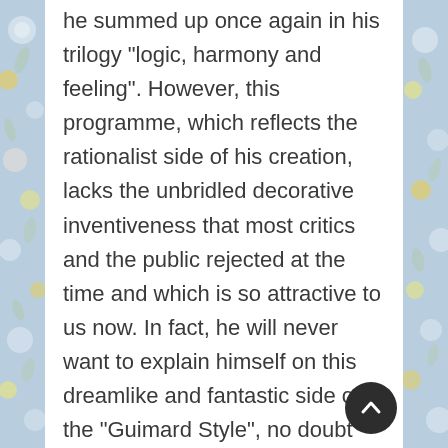he summed up once again in his trilogy "logic, harmony and feeling". However, this programme, which reflects the rationalist side of his creation, lacks the unbridled decorative inventiveness that most critics and the public rejected at the time and which is so attractive to us now. In fact, he will never want to explain himself on this dreamlike and fantastic side of the "Guimard Style", no doubt considering it to be a take-it-or-leave-it proposition.

Curiously, such a badly started relationship between the two men found a rather happy ending in the article De